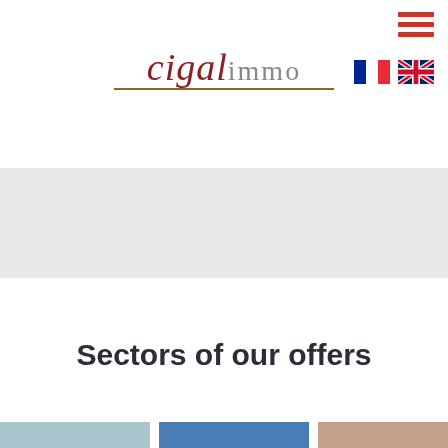[Figure (logo): Cigal Immo real estate agency logo with stylized text 'cigal' in dark red italic and 'immo' in gray, with a brown underline]
[Figure (other): Hamburger menu icon with three horizontal red bars in top right corner]
[Figure (other): French flag and UK flag icons for language selection]
[Figure (other): Gray banner/hero image placeholder area]
Sectors of our offers
[Figure (other): Three colored tiles at the bottom: light blue, medium blue, and light brown/pink]